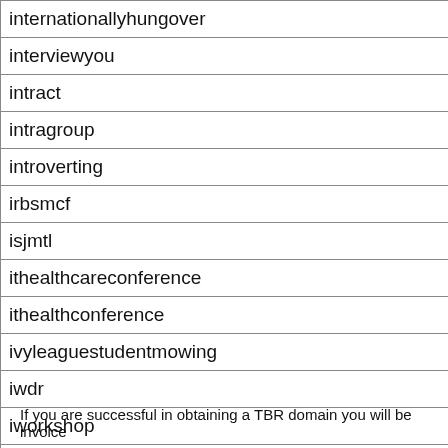| internationallyhungover |
| interviewyou |
| intract |
| intragroup |
| introverting |
| irbsmcf |
| isjmtl |
| ithealthcareconference |
| ithealthconference |
| ivyleaguestudentmowing |
| iwdr |
| iworkshop |
| izatechltd |
Prev | 0 | 1 | 2 | 3 | 4 | 5 | 6 | 7 | 8 | 9 | a | b | c | d | e | f | g | h | i | j | k
If you are successful in obtaining a TBR domain you will be invoice